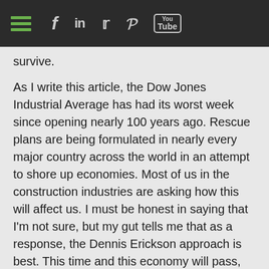Social navigation header with hamburger menu and social icons: Facebook, LinkedIn, Twitter, Pinterest, YouTube
survive.
As I write this article, the Dow Jones Industrial Average has had its worst week since opening nearly 100 years ago. Rescue plans are being formulated in nearly every major country across the world in an attempt to shore up economies. Most of us in the construction industries are asking how this will affect us. I must be honest in saying that I'm not sure, but my gut tells me that as a response, the Dennis Erickson approach is best. This time and this economy will pass, and the home improvement and construction industry will continue to be a major part of this great country's economy.
Our industry, like football, has seen advancements. One visit to the World of Concrete conference will confirm this. But think about this for a second. Every job, whether in Texas or Dubai, has at least one thing in common. Finishing the job still comes down to a human and a shovel. As complex as our industry is, it still comes down